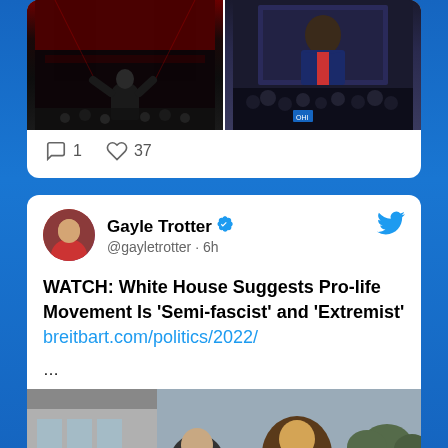[Figure (screenshot): Two side-by-side political event photos at top of tweet card — left shows Biden at red-lit rally, right shows Obama on large screen at crowded event]
1  37
[Figure (screenshot): Twitter/X tweet card from Gayle Trotter (@gayletrotter, 6h ago) with verified badge: 'WATCH: White House Suggests Pro-life Movement Is Semi-fascist and Extremist breitbart.com/politics/2022/ ...' followed by protest photo showing women holding red signs reading 'THEIR ARTS']
WATCH: White House Suggests Pro-life Movement Is 'Semi-fascist' and 'Extremist' breitbart.com/politics/2022/